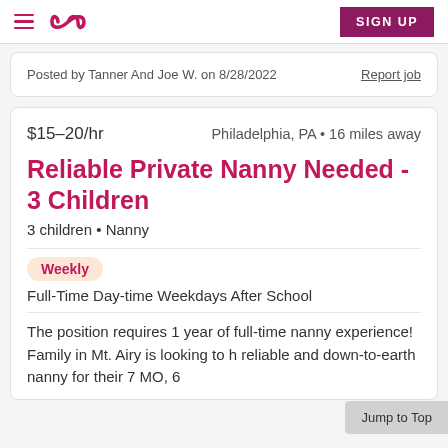Care.com — Navigation bar with hamburger menu, logo, and SIGN UP button
Posted by Tanner And Joe W. on 8/28/2022
Report job
$15–20/hr     Philadelphia, PA • 16 miles away
Reliable Private Nanny Needed - 3 Children
3 children • Nanny
Weekly
Full-Time Day-time Weekdays After School
The position requires 1 year of full-time nanny experience! Family in Mt. Airy is looking to h reliable and down-to-earth nanny for their 7 MO, 6